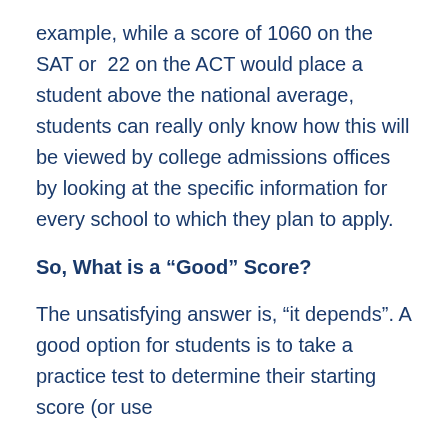example, while a score of 1060 on the SAT or 22 on the ACT would place a student above the national average, students can really only know how this will be viewed by college admissions offices by looking at the specific information for every school to which they plan to apply.
So, What is a “Good” Score?
The unsatisfying answer is, “it depends”. A good option for students is to take a practice test to determine their starting score (or use